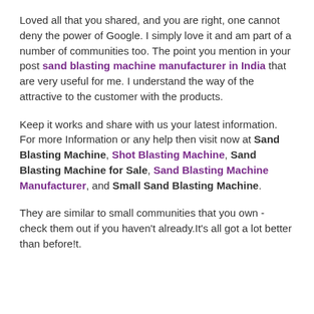Loved all that you shared, and you are right, one cannot deny the power of Google. I simply love it and am part of a number of communities too. The point you mention in your post sand blasting machine manufacturer in India that are very useful for me. I understand the way of the attractive to the customer with the products.
Keep it works and share with us your latest information. For more Information or any help then visit now at Sand Blasting Machine, Shot Blasting Machine, Sand Blasting Machine for Sale, Sand Blasting Machine Manufacturer, and Small Sand Blasting Machine.
They are similar to small communities that you own - check them out if you haven't already.It's all got a lot better than before!t.